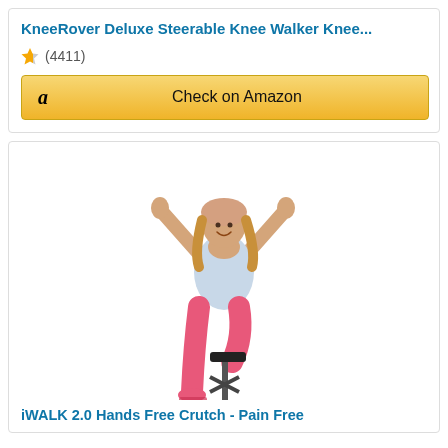KneeRover Deluxe Steerable Knee Walker Knee...
★★★★½ (4411)
Check on Amazon
[Figure (photo): Woman with blonde hair wearing pink pants and a white top, smiling with arms raised, using an iWALK 2.0 hands-free crutch attached to her bent leg]
iWALK 2.0 Hands Free Crutch - Pain Free